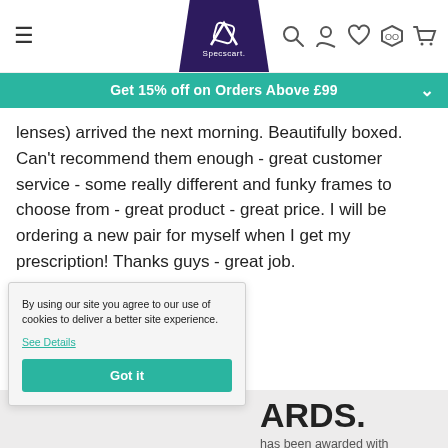Specscart navigation bar with hamburger menu, logo, search, account, wishlist, try-on, and cart icons
Get 15% off on Orders Above £99
lenses) arrived the next morning. Beautifully boxed. Can't recommend them enough - great customer service - some really different and funky frames to choose from - great product - great price. I will be ordering a new pair for myself when I get my prescription! Thanks guys - great job.
By using our site you agree to our use of cookies to deliver a better site experience.
See Details
Got it
ARDS.
has been awarded with on various platforms since the Albert Gubay Award in